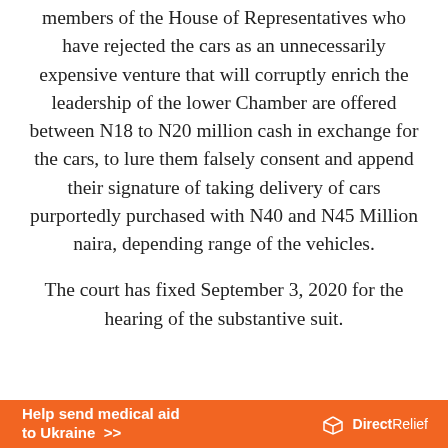members of the House of Representatives who have rejected the cars as an unnecessarily expensive venture that will corruptly enrich the leadership of the lower Chamber are offered between N18 to N20 million cash in exchange for the cars, to lure them falsely consent and append their signature of taking delivery of cars purportedly purchased with N40 and N45 Million naira, depending range of the vehicles.
The court has fixed September 3, 2020 for the hearing of the substantive suit.
[Figure (other): Orange advertisement banner for Direct Relief: 'Help send medical aid to Ukraine >>' with Direct Relief logo (white icon and text) on right side.]